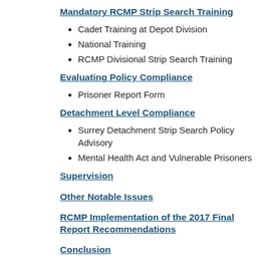Mandatory RCMP Strip Search Training
Cadet Training at Depot Division
National Training
RCMP Divisional Strip Search Training
Evaluating Policy Compliance
Prisoner Report Form
Detachment Level Compliance
Surrey Detachment Strip Search Policy Advisory
Mental Health Act and Vulnerable Prisoners
Supervision
Other Notable Issues
RCMP Implementation of the 2017 Final Report Recommendations
Conclusion